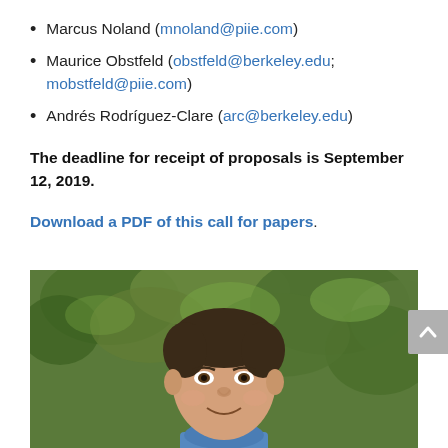Marcus Noland (mnoland@piie.com)
Maurice Obstfeld (obstfeld@berkeley.edu; mobstfeld@piie.com)
Andrés Rodríguez-Clare (arc@berkeley.edu)
The deadline for receipt of proposals is September 12, 2019.
Download a PDF of this call for papers.
[Figure (photo): Headshot of a young man with short dark hair smiling, outdoors with green foliage in the background]